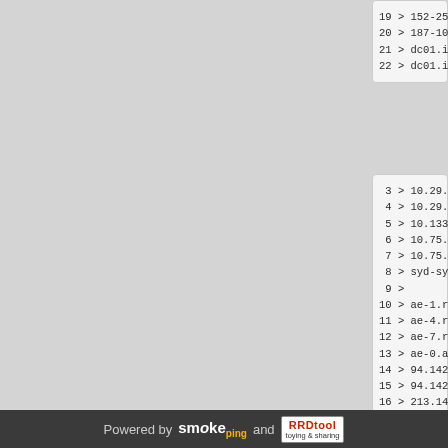19 > 152-255-1
20 > 187-100-1
21 > dc01.impe
22 > dc01.impe
3 > 10.29.229
4 > 10.29.224
5 > 10.133.18
6 > 10.75.8.1
7 > 10.75.248
8 > syd-sy2-b
9 >
10 > ae-1.r20.
11 > ae-4.r24.
12 > ae-7.r20.
13 > ae-0.a00.
14 > 94.142.16
15 > 94.142.99
16 > 213.140.4
17 > 213.140.4
18 > 5.53.4.88
19 > 152-255-1
20 > 187-100-1
21 > dc01.impe
Powered by smokeping and RRDtool